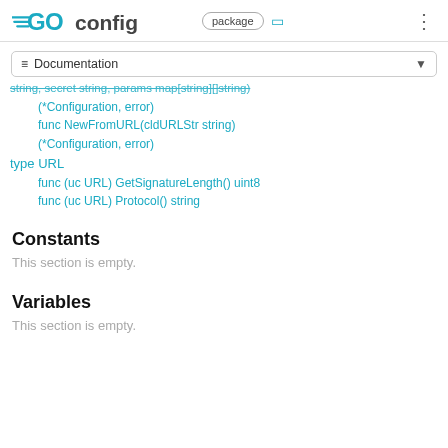GOconfig package
≡ Documentation
string, secret string, params map[string][]string)
(*Configuration, error)
func NewFromURL(cldURLStr string)
(*Configuration, error)
type URL
func (uc URL) GetSignatureLength() uint8
func (uc URL) Protocol() string
Constants
This section is empty.
Variables
This section is empty.